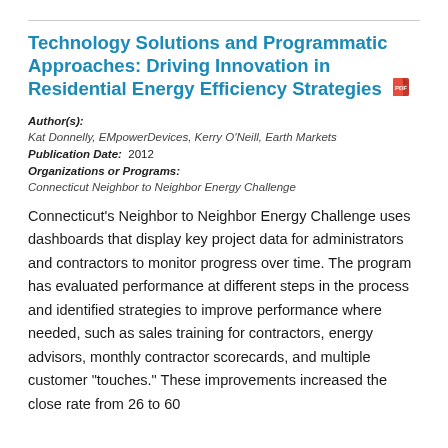Technology Solutions and Programmatic Approaches: Driving Innovation in Residential Energy Efficiency Strategies
Author(s): Kat Donnelly, EMpowerDevices, Kerry O'Neill, Earth Markets Publication Date: 2012 Organizations or Programs: Connecticut Neighbor to Neighbor Energy Challenge
Connecticut's Neighbor to Neighbor Energy Challenge uses dashboards that display key project data for administrators and contractors to monitor progress over time. The program has evaluated performance at different steps in the process and identified strategies to improve performance where needed, such as sales training for contractors, energy advisors, monthly contractor scorecards, and multiple customer "touches." These improvements increased the close rate from 26 to 60